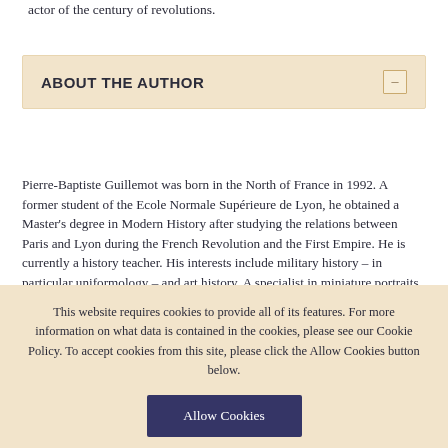actor of the century of revolutions.
ABOUT THE AUTHOR
Pierre-Baptiste Guillemot was born in the North of France in 1992. A former student of the Ecole Normale Supérieure de Lyon, he obtained a Master's degree in Modern History after studying the relations between Paris and Lyon during the French Revolution and the First Empire. He is currently a history teacher. His interests include military history – in particular uniformology – and art history. A specialist in miniature portraits and a militaria collector, Pierre-Baptiste Guillemot is also a regular contributing author to most of the French journals and magazines devoted to the First Empire.
This website requires cookies to provide all of its features. For more information on what data is contained in the cookies, please see our Cookie Policy. To accept cookies from this site, please click the Allow Cookies button below.